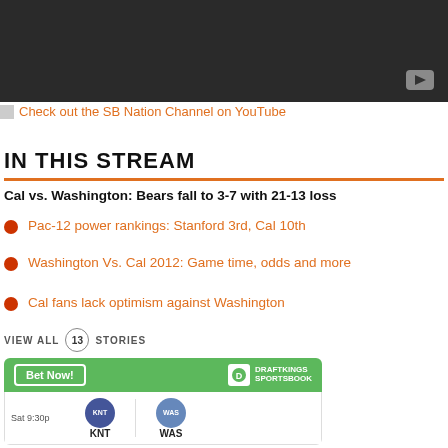[Figure (screenshot): Dark video player thumbnail with play button in bottom right corner]
[Figure (screenshot): Banner link: Check out the SB Nation Channel on YouTube]
IN THIS STREAM
Cal vs. Washington: Bears fall to 3-7 with 21-13 loss
Pac-12 power rankings: Stanford 3rd, Cal 10th
Washington Vs. Cal 2012: Game time, odds and more
Cal fans lack optimism against Washington
VIEW ALL 13 STORIES
[Figure (screenshot): DraftKings Sportsbook widget showing Bet Now button and a game between KNT and WAS on Sat 9:30p]